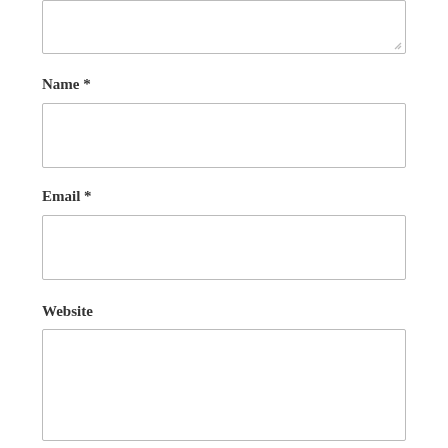[Figure (other): Text area input box (partially visible at top, with resize handle)]
Name *
[Figure (other): Name text input box]
Email *
[Figure (other): Email text input box]
Website
[Figure (other): Website text input box]